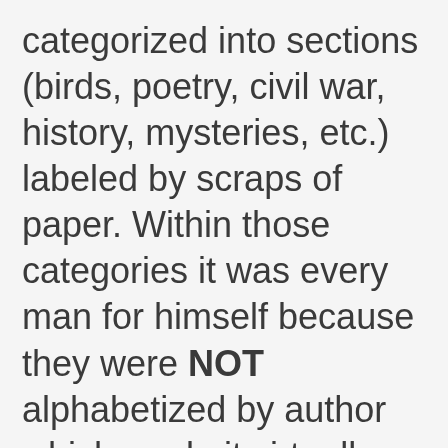categorized into sections (birds, poetry, civil war, history, mysteries, etc.) labeled by scraps of paper. Within those categories it was every man for himself because they were NOT alphabetized by author which made it virtually impossible to find any one certain book. To make matters even more challenging, there are at least three other buildings filled with books. It is a work in